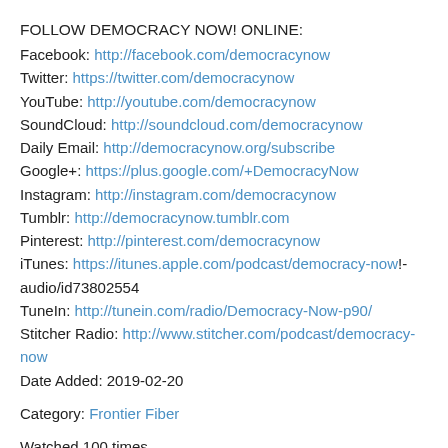FOLLOW DEMOCRACY NOW! ONLINE:
Facebook: http://facebook.com/democracynow
Twitter: https://twitter.com/democracynow
YouTube: http://youtube.com/democracynow
SoundCloud: http://soundcloud.com/democracynow
Daily Email: http://democracynow.org/subscribe
Google+: https://plus.google.com/+DemocracyNow
Instagram: http://instagram.com/democracynow
Tumblr: http://democracynow.tumblr.com
Pinterest: http://pinterest.com/democracynow
iTunes: https://itunes.apple.com/podcast/democracy-now!-audio/id73802554
TuneIn: http://tunein.com/radio/Democracy-Now-p90/
Stitcher Radio: http://www.stitcher.com/podcast/democracy-now
Date Added: 2019-02-20
Category: Frontier Fiber
Watched 100 times
Tags: None